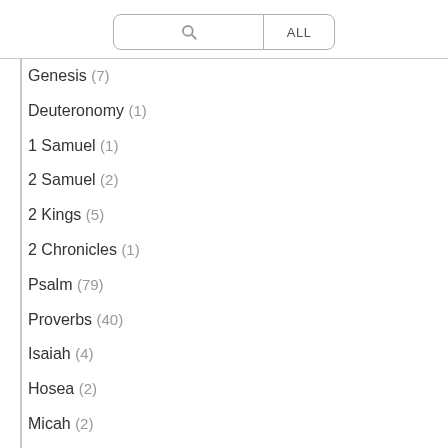Genesis (7)
Deuteronomy (1)
1 Samuel (1)
2 Samuel (2)
2 Kings (5)
2 Chronicles (1)
Psalm (79)
Proverbs (40)
Isaiah (4)
Hosea (2)
Micah (2)
Malachi (1)
New Testament (22)